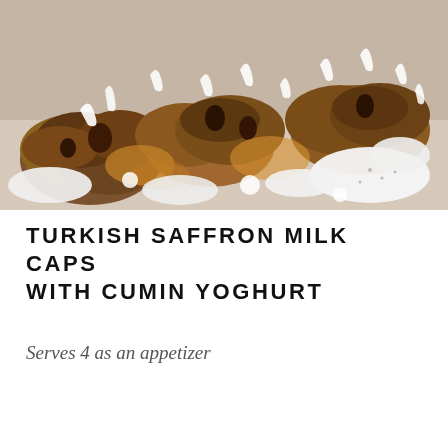[Figure (photo): Close-up photo of Turkish saffron milk cap mushrooms on a plate, drizzled generously with white cumin yoghurt sauce.]
TURKISH SAFFRON MILK CAPS WITH CUMIN YOGHURT
Serves 4 as an appetizer